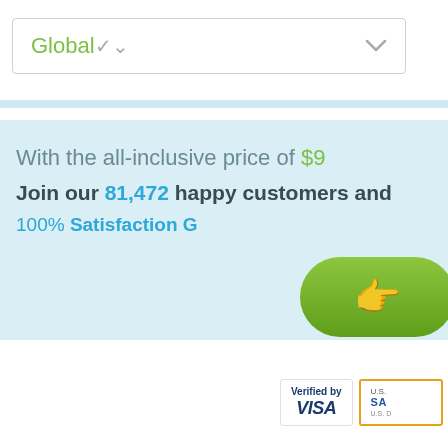Global
With the all-inclusive price of $9
Join our 81,472 happy customers and
100% Satisfaction G
[Figure (illustration): Green pill-shaped button with a white pointing hand/finger icon]
[Figure (logo): Verified by VISA badge and U.S. Safe logo badge]